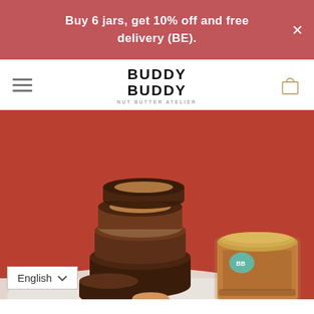Buy 6 jars, get 10% off and free delivery (BE).
[Figure (logo): Buddy Buddy Nut Butter Atelier logo with bold stacked text]
[Figure (photo): Hero image showing stacked chocolate peanut butter cups and a Buddy Buddy nut butter jar against a terracotta/red background]
English